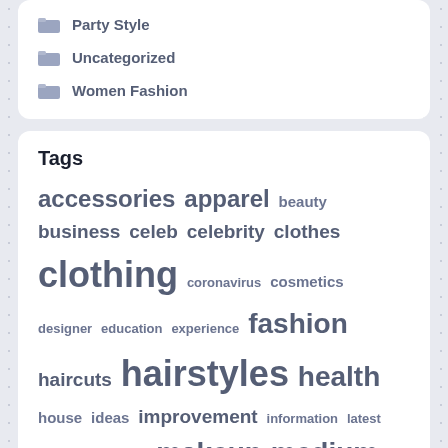Party Style
Uncategorized
Women Fashion
Tags
accessories apparel beauty business celeb celebrity clothes clothing coronavirus cosmetics designer education experience fashion haircuts hairstyles health house ideas improvement information latest laurent length makeup medium men39s network online paris products saint shoes shopping short skincare store stores street style technology trends women